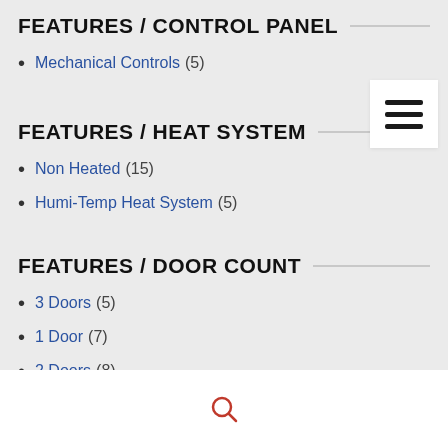FEATURES / CONTROL PANEL
Mechanical Controls (5)
[Figure (other): Hamburger menu icon button with three horizontal bars]
FEATURES / HEAT SYSTEM
Non Heated (15)
Humi-Temp Heat System (5)
FEATURES / DOOR COUNT
3 Doors (5)
1 Door (7)
2 Doors (8)